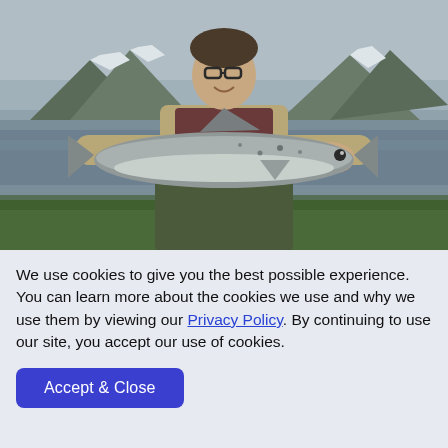[Figure (photo): A man wearing a fishing vest and waders kneels outdoors holding up a large silver salmon with both hands. Snow-capped mountains and a river are visible in the background under an overcast sky. Green grass is in the foreground.]
We use cookies to give you the best possible experience. You can learn more about the cookies we use and why we use them by viewing our Privacy Policy. By continuing to use our site, you accept our use of cookies.
Accept & Close